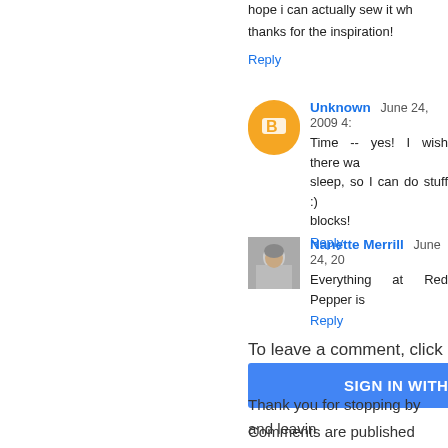hope i can actually sew it wh
thanks for the inspiration!
Reply
Unknown  June 24, 2009 4:
Time -- yes! I wish there wa sleep, so I can do stuff :) blocks!
Reply
Nanette Merrill  June 24, 20
Everything at Red Pepper is
Reply
To leave a comment, click the
SIGN IN WITH GOOGLE
Thank you for stopping by and leavin
Comments are published after revie